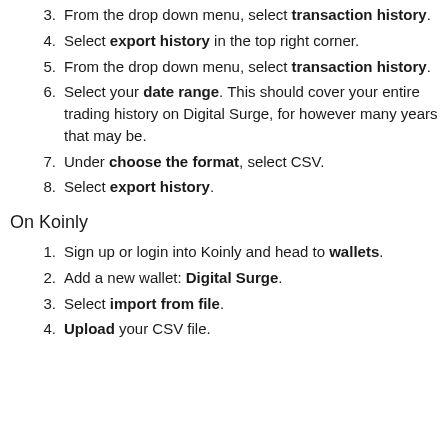3. From the drop down menu, select transaction history.
4. Select export history in the top right corner.
5. From the drop down menu, select transaction history.
6. Select your date range. This should cover your entire trading history on Digital Surge, for however many years that may be.
7. Under choose the format, select CSV.
8. Select export history.
On Koinly
1. Sign up or login into Koinly and head to wallets.
2. Add a new wallet: Digital Surge.
3. Select import from file.
4. Upload your CSV file.